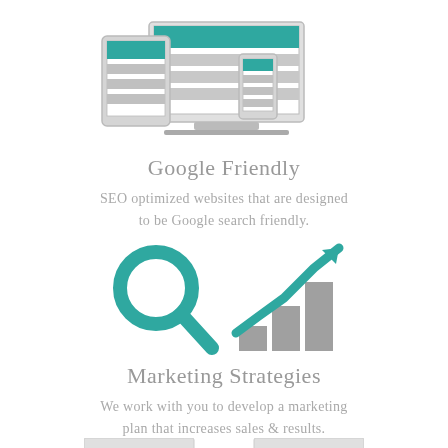[Figure (illustration): Responsive web design illustration showing a desktop monitor, tablet, and smartphone with teal and grey layout blocks]
Google Friendly
SEO optimized websites that are designed to be Google search friendly.
[Figure (illustration): Two icons side by side: a teal magnifying glass search icon on the left, and a teal upward arrow over grey bar chart growth icon on the right]
Marketing Strategies
We work with you to develop a marketing plan that increases sales & results.
[Figure (illustration): Two partially visible rectangular icons at the bottom of the page]